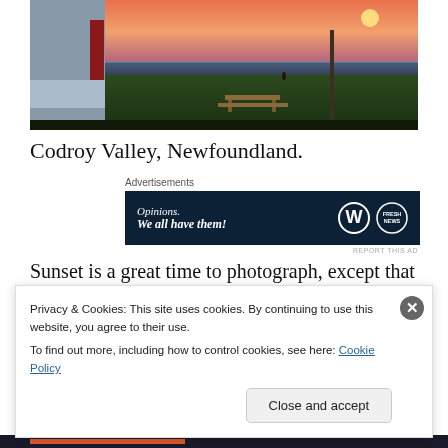[Figure (photo): Sunset photo showing a lighthouse or building on the left, green lawn, a picnic bench, utility poles, and the ocean horizon with orange-pink sunset sky]
Codroy Valley, Newfoundland.
Advertisements
[Figure (other): Advertisement banner: dark navy background with text 'Opinions. We all have them!' and WordPress and Fresh News logos]
REPORT THIS AD
Sunset is a great time to photograph, except that I'm not
Privacy & Cookies: This site uses cookies. By continuing to use this website, you agree to their use.
To find out more, including how to control cookies, see here: Cookie Policy
Close and accept